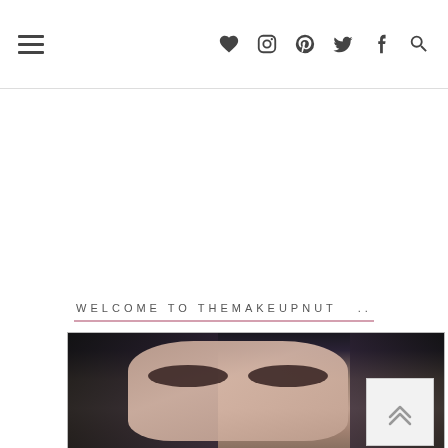Navigation bar with hamburger menu and social icons: heart, instagram, pinterest, twitter, facebook, search
WELCOME TO THEMAKEUPNUT  ..
[Figure (photo): Close-up photo of a woman's eyes with dramatic makeup, dark hair, looking directly at camera]
[Figure (other): Scroll-to-top button with double chevron up arrow]